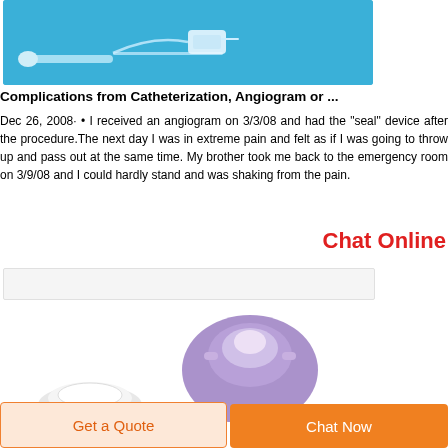[Figure (photo): Medical catheter/IV line device on blue background]
Complications from Catheterization, Angiogram or ...
Dec 26, 2008· • I received an angiogram on 3/3/08 and had the "seal" device after the procedure.The next day I was in extreme pain and felt as if I was going to throw up and pass out at the same time. My brother took me back to the emergency room on 3/9/08 and I could hardly stand and was shaking from the pain.
Chat Online
[Figure (photo): Light gray/white rectangular image area]
[Figure (photo): Medical device components - white and purple plastic parts on white background]
Get a Quote
Chat Now